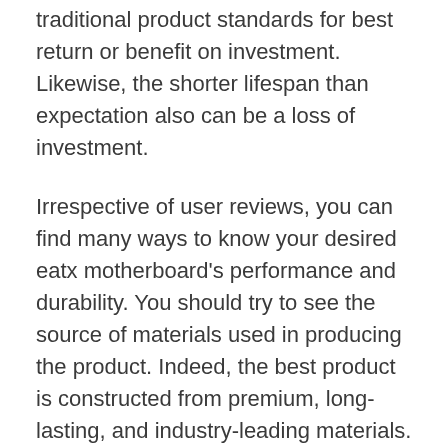traditional product standards for best return or benefit on investment. Likewise, the shorter lifespan than expectation also can be a loss of investment.
Irrespective of user reviews, you can find many ways to know your desired eatx motherboard's performance and durability. You should try to see the source of materials used in producing the product. Indeed, the best product is constructed from premium, long-lasting, and industry-leading materials.
Warranty and After-sales Service:
Warranty and after-sales service are very much